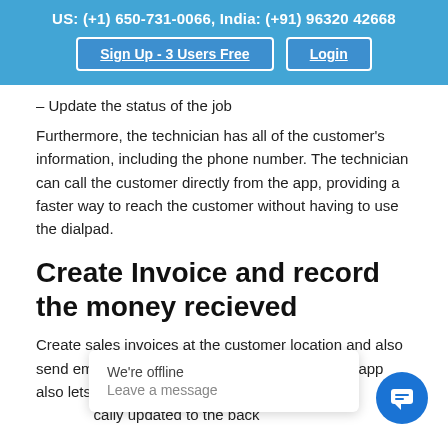US: (+1) 650-731-0066,  India: (+91) 96320 42668
– Update the status of the job
Furthermore, the technician has all of the customer's information, including the phone number. The technician can call the customer directly from the app, providing a faster way to reach the customer without having to use the dialpad.
Create Invoice and record the money recieved
Create sales invoices at the customer location and also send email and sms of the estimate. The mobile app also lets you record the money recieved and it is automatically updated to the back...
We're offline
Leave a message